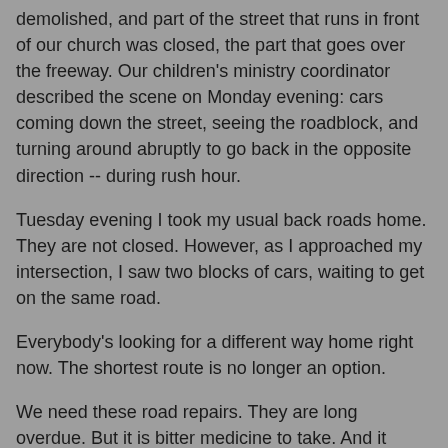demolished, and part of the street that runs in front of our church was closed, the part that goes over the freeway. Our children's ministry coordinator described the scene on Monday evening: cars coming down the street, seeing the roadblock, and turning around abruptly to go back in the opposite direction -- during rush hour.
Tuesday evening I took my usual back roads home. They are not closed. However, as I approached my intersection, I saw two blocks of cars, waiting to get on the same road.
Everybody's looking for a different way home right now. The shortest route is no longer an option.
We need these road repairs. They are long overdue. But it is bitter medicine to take. And it means that we will have to take detours for awhile, we will have to slow down, we will be inconvenienced. For people in a hurry, with never enough time, with a sense of urgency, this is a difficult lesson to learn. Maybe we won't learn it, anyway.
We need more than road repairs. We need humanity repairs